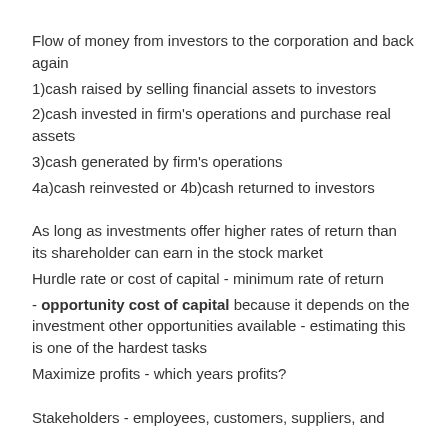Flow of money from investors to the corporation and back again
1)cash raised by selling financial assets to investors
2)cash invested in firm's operations and purchase real assets
3)cash generated by firm's operations
4a)cash reinvested or 4b)cash returned to investors
As long as investments offer higher rates of return than its shareholder can earn in the stock market
Hurdle rate or cost of capital - minimum rate of return
- opportunity cost of capital because it depends on the investment other opportunities available - estimating this is one of the hardest tasks
Maximize profits - which years profits?
Stakeholders - employees, customers, suppliers, and